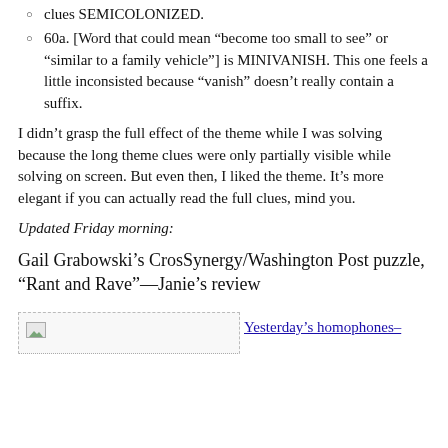clues SEMICOLONIZED.
60a. [Word that could mean “become too small to see” or “similar to a family vehicle”] is MINIVANISH. This one feels a little inconsisted because “vanish” doesn’t really contain a suffix.
I didn’t grasp the full effect of the theme while I was solving because the long theme clues were only partially visible while solving on screen. But even then, I liked the theme. It’s more elegant if you can actually read the full clues, mind you.
Updated Friday morning:
Gail Grabowski’s CrosSynergy/Washington Post puzzle, “Rant and Rave”—Janie’s review
[Figure (photo): Broken image placeholder icon]
Yesterday’s homophones–